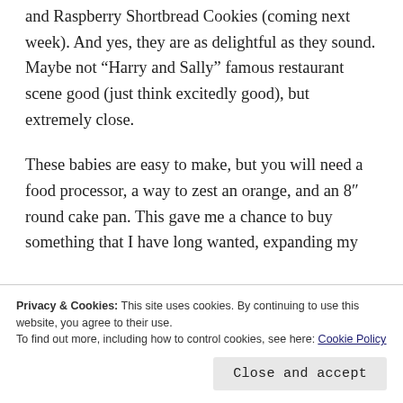and Raspberry Shortbread Cookies (coming next week). And yes, they are as delightful as they sound. Maybe not “Harry and Sally” famous restaurant scene good (just think excitedly good), but extremely close.
These babies are easy to make, but you will need a food processor, a way to zest an orange, and an 8″ round cake pan. This gave me a chance to buy something that I have long wanted, expanding my
Privacy & Cookies: This site uses cookies. By continuing to use this website, you agree to their use.
To find out more, including how to control cookies, see here: Cookie Policy